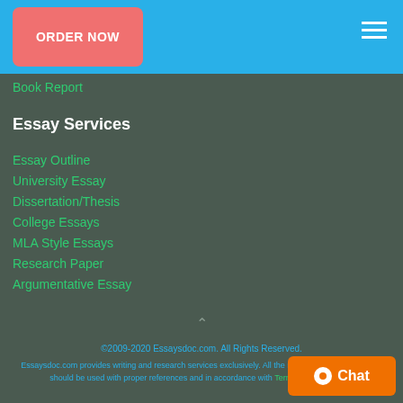ORDER NOW
Book Report
Essay Services
Essay Outline
University Essay
Dissertation/Thesis
College Essays
MLA Style Essays
Research Paper
Argumentative Essay
©2009-2020 Essaysdoc.com. All Rights Reserved. Essaysdoc.com provides writing and research services exclusively. All the materials from our website should be used with proper references and in accordance with Terms and conditions.